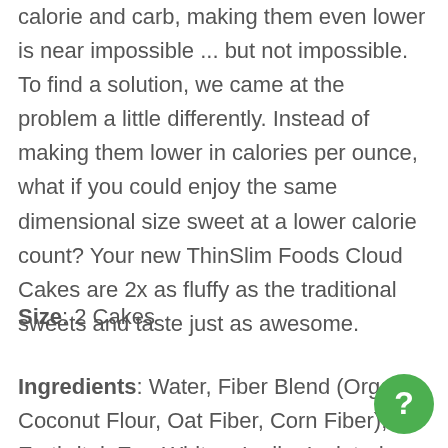calorie and carb, making them even lower is near impossible ... but not impossible. To find a solution, we came at the problem a little differently. Instead of making them lower in calories per ounce, what if you could enjoy the same dimensional size sweet at a lower calorie count? Your new ThinSlim Foods Cloud Cakes are 2x as fluffy as the traditional sweets and taste just as awesome.
Size: 2 Cakes
Ingredients: Water, Fiber Blend (Organic Coconut Flour, Oat Fiber, Corn Fiber), Erythritol, Egg Whites, Inulin, Isolated Whey Protein, Olive Oil, Butter, Spices, Baking Soda, Xanthan Gum, Pumpkin Flavoring
[Figure (other): Green circular help/chat button with white question mark]